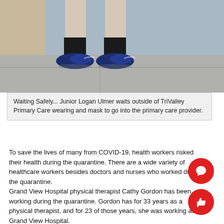[Figure (photo): Photo showing legs and feet of a person wearing dark socks and blue Nike sneakers, standing outside on a concrete sidewalk near a building wall.]
Waiting Safely... Junior Logan Ulmer waits outside of TriValley Primary Care wearing and mask to go into the primary care provider.
To save the lives of many from COVID-19, health workers risked their health during the quarantine. There are a wide variety of healthcare workers besides doctors and nurses who worked during the quarantine.
Grand View Hospital physical therapist Cathy Gordon has been working during the quarantine. Gordon has for 33 years as a physical therapist, and for 23 of those years, she was working at Grand View Hospital.